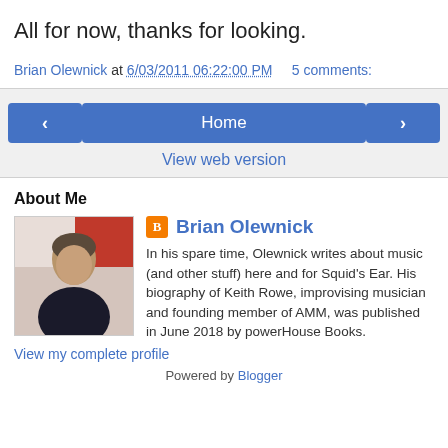All for now, thanks for looking.
Brian Olewnick at 6/03/2011 06:22:00 PM   5 comments:
‹
Home
›
View web version
About Me
[Figure (photo): Profile photo of Brian Olewnick]
Brian Olewnick
In his spare time, Olewnick writes about music (and other stuff) here and for Squid's Ear. His biography of Keith Rowe, improvising musician and founding member of AMM, was published in June 2018 by powerHouse Books.
View my complete profile
Powered by Blogger